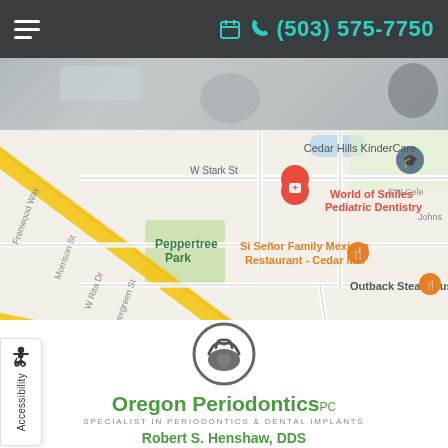(503) 575-7750
[Figure (map): Google Maps view showing Cedar Hills area of Portland, Oregon. Visible landmarks include Cedar Hills KinderCare, World of Smiles Pediatric Dentistry, Si Señor Family Mexican Restaurant - Cedar Mill, Outback Steakhouse, The UPS Store, St. Andrew Lutheran Church, Peppertree Park, Cedar Hills. Roads include NW Sunset Hwy, W Stark St, Frenwood Way, NW Spring Ln.]
[Figure (logo): Oregon Periodontics PC logo - circular grey icon with tooth/hands design above green text reading Oregon Periodontics PC, subtitle SPECIALIST IN PERIODONTICS & DENTAL IMPLANTS, and physician name Robert S. Henshaw, DDS in green bold text]